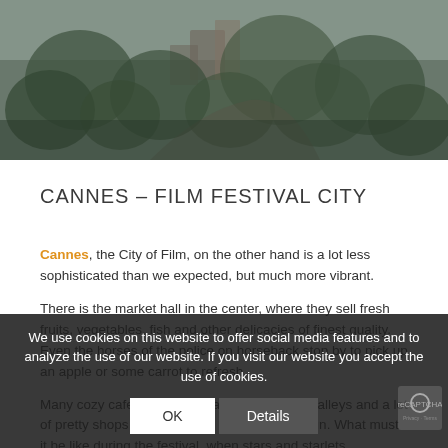[Figure (photo): Aerial or hillside photo showing buildings and trees in Cannes, muted green-grey tones]
CANNES – FILM FESTIVAL CITY
Cannes, the City of Film, on the other hand is a lot less sophisticated than we expected, but much more vibrant.
There is the market hall in the center, where they sell fresh fruits, vegetables, fish and other delicacies of finest quality. Even the horses of the police on horseback stop by to pick up an apple or some carrot to refresh. [continues...]
Many cozy cafes and restaurants, some small alleys and a lot of pretty shops... strolling the local streets is fun. What must it be like during the festival, when stars and starlets dominate...
We use cookies on this website to offer social media features and to analyze the use of our website. If you visit our website you accept the use of cookies.